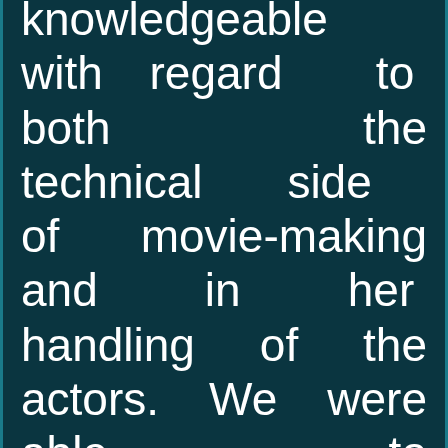knowledgeable with regard to both the technical side of movie-making and in her handling of the actors. We were able to communicate a lot about the story long before the shoot, so were consequently well in sync on the